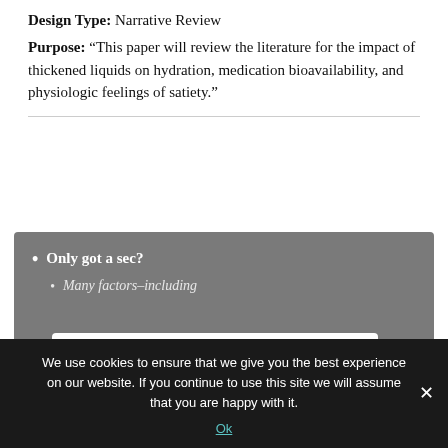Design Type: Narrative Review
Purpose: “This paper will review the literature for the impact of thickened liquids on hydration, medication bioavailability, and physiologic feelings of satiety.”
Only got a sec?
Many factors–including
Thank you for visiting. You
We use cookies to ensure that we give you the best experience on our website. If you continue to use this site we will assume that you are happy with it.
Ok